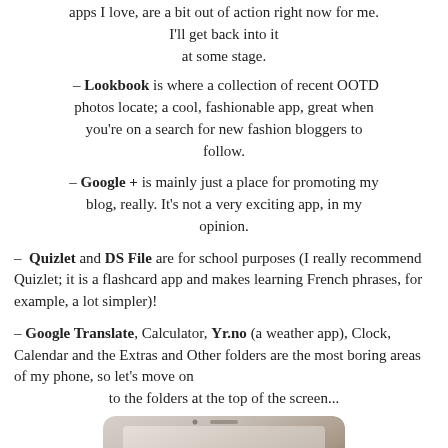apps I love, are a bit out of action right now for me. I'll get back into it at some stage.
– Lookbook is where a collection of recent OOTD photos locate; a cool, fashionable app, great when you're on a search for new fashion bloggers to follow.
– Google + is mainly just a place for promoting my blog, really. It's not a very exciting app, in my opinion.
– Quizlet and DS File are for school purposes (I really recommend Quizlet; it is a flashcard app and makes learning French phrases, for example, a lot simpler)!
– Google Translate, Calculator, Yr.no (a weather app), Clock, Calendar and the Extras and Other folders are the most boring areas of my phone, so let's move on to the folders at the top of the screen...
[Figure (photo): A smartphone (white iPhone) photographed from above on a light surface, showing the top portion of the device with the screen partially visible.]